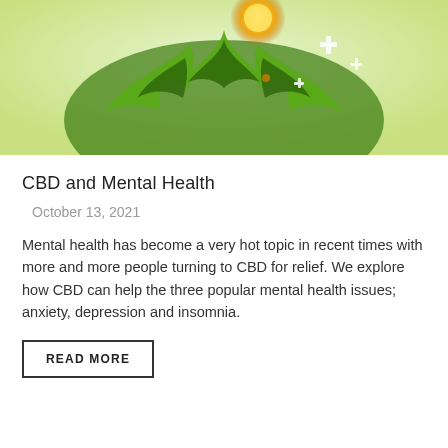[Figure (illustration): Illustration of a green human head silhouette filled with cannabis/hemp leaves, with a glowing golden/orange orb near the top and white plus/cross medical symbols, on a light green background.]
CBD and Mental Health
October 13, 2021
Mental health has become a very hot topic in recent times with more and more people turning to CBD for relief. We explore how CBD can help the three popular mental health issues; anxiety, depression and insomnia.
READ MORE